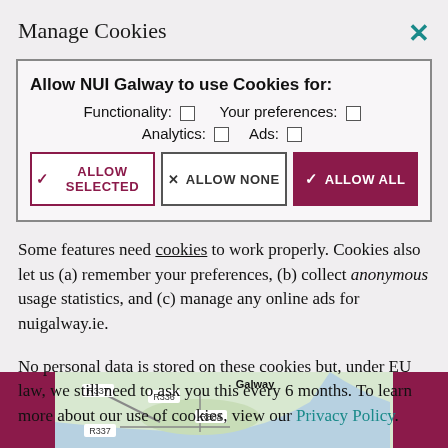Manage Cookies
| Allow NUI Galway to use Cookies for: |
| Functionality: ☐   Your preferences: ☐ |
| Analytics: ☐   Ads: ☐ |
| ✓ ALLOW SELECTED | × ALLOW NONE | ✓ ALLOW ALL |
Some features need cookies to work properly. Cookies also let us (a) remember your preferences, (b) collect anonymous usage statistics, and (c) manage any online ads for nuigalway.ie.
No personal data is stored on these cookies but, under EU law, we still need to ask you this every 6 months. To learn more about our use of cookies, view our Privacy Policy.
[Figure (map): Map of Galway city and surroundings showing roads R337, R336, R884 and Galway Bay]